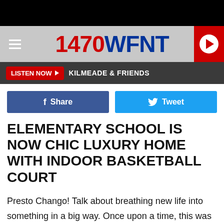[Figure (screenshot): 1470 WFNT radio station website header with hamburger menu, logo, and play button]
LISTEN NOW   KILMEADE & FRIENDS
[Figure (infographic): Facebook Share and Twitter Tweet social sharing buttons]
ELEMENTARY SCHOOL IS NOW CHIC LUXURY HOME WITH INDOOR BASKETBALL COURT
Presto Chango! Talk about breathing new life into something in a big way. Once upon a time, this was Perry Elementary School in Mt. Morris, Pennsylvania. Now, the former school is one [redacted] 00 square [redacted] 5 half